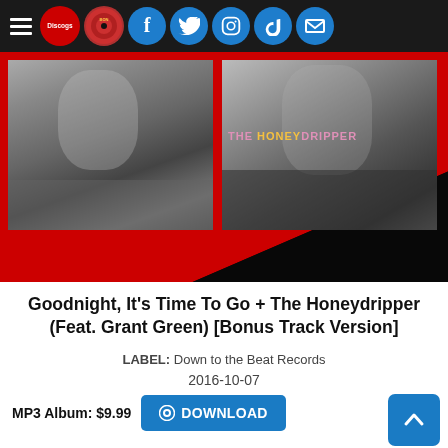Navigation bar with hamburger menu, Discogs logo, vinyl record logo, Facebook, Twitter, Instagram, TikTok, Email icons
[Figure (photo): Album cover art for 'Goodnight, It's Time To Go + The Honeydripper' featuring two black-and-white photos of musicians on a red and black background with the text 'THE HONEYDRIPPER']
Goodnight, It's Time To Go + The Honeydripper (Feat. Grant Green) [Bonus Track Version]
LABEL: Down to the Beat Records
2016-10-07
MP3 Album: $9.99  DOWNLOAD